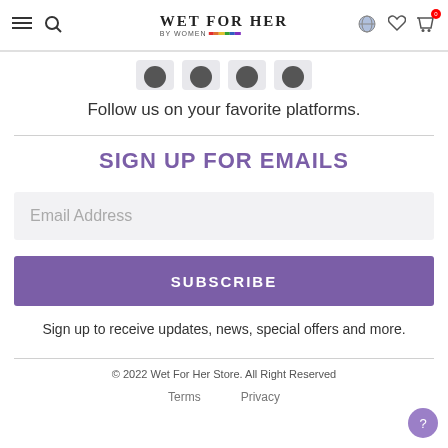WET FOR HER BY WOMEN — Navigation bar with menu, search, logo, flag, wishlist, cart
[Figure (screenshot): Row of social media icon thumbnails partially visible]
Follow us on your favorite platforms.
SIGN UP FOR EMAILS
Email Address
SUBSCRIBE
Sign up to receive updates, news, special offers and more.
© 2022 Wet For Her Store. All Right Reserved
Terms   Privacy